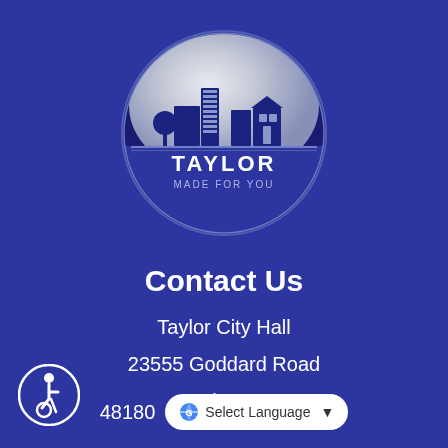[Figure (logo): City of Taylor Michigan circular logo with skyline showing buildings and houses, text 'TAYLOR MADE FOR YOU' on blue and silver globe]
Contact Us
Taylor City Hall
23555 Goddard Road
Taylor, MI
48180
[Figure (logo): Accessibility icon - wheelchair user symbol in blue circle]
Select Language